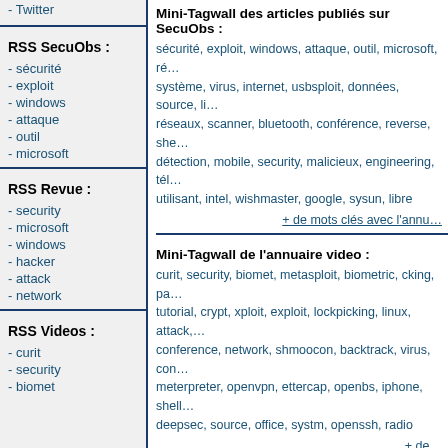- Twitter
RSS SecuObs :
- sécurité
- exploit
- windows
- attaque
- outil
- microsoft
RSS Revue :
- security
- microsoft
- windows
- hacker
- attack
- network
RSS Videos :
- curit
- security
- biomet
Mini-Tagwall des articles publiés sur SecuObs :
sécurité, exploit, windows, attaque, outil, microsoft, ré… système, virus, internet, usbsploit, données, source, li… réseaux, scanner, bluetooth, conférence, reverse, she… détection, mobile, security, malicieux, engineering, tél… utilisant, intel, wishmaster, google, sysun, libre
+ de mots clés avec l'annu…
Mini-Tagwall de l'annuaire video :
curit, security, biomet, metasploit, biometric, cking, pa… tutorial, crypt, xploit, exploit, lockpicking, linux, attack,… conference, network, shmoocon, backtrack, virus, con… meterpreter, openvpn, ettercap, openbs, iphone, shell… deepsec, source, office, systm, openssh, radio
+ de…
Mini-Tagwall des articles de la revue de presse :
security, microsoft, windows, hacker, attack, network,… malware, internet, remote, iphone, server, inject, patch… facebook, vulnérabilité, crypt, source, linux, password… access, tutorial, trojan, social, privacy, firefox, adobe,… botnet, pirate, sécurité